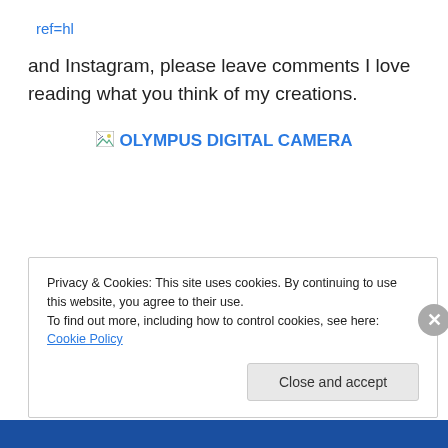ref=hl
and Instagram, please leave comments I love reading what you think of my creations.
[Figure (photo): Broken image placeholder with alt text 'OLYMPUS DIGITAL CAMERA' in blue link style text]
Privacy & Cookies: This site uses cookies. By continuing to use this website, you agree to their use.
To find out more, including how to control cookies, see here: Cookie Policy
Close and accept